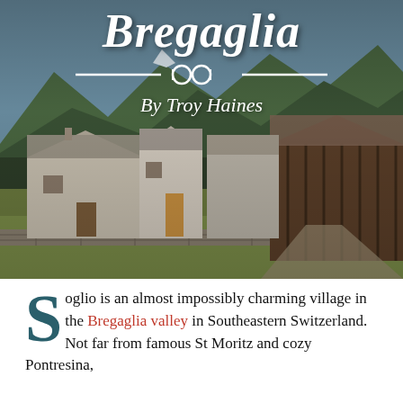[Figure (photo): Photograph of old stone village buildings with slate roofs and a large wooden barn structure, set against green hills and forested mountains in the background. Alpine landscape of Soglio in the Bregaglia valley, Switzerland.]
Bregaglia
By Troy Haines
Soglio is an almost impossibly charming village in the Bregaglia valley in Southeastern Switzerland. Not far from famous St Moritz and cozy Pontresina,